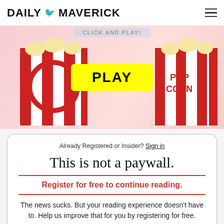DAILY MAVERICK
[Figure (photo): Advertisement banner with popcorn bucket image and a yellow PLAY button, with 'CLICK AND PLAY!' text at the top]
Already Registered or Insider? Sign in
This is not a paywall.
Register for free to continue reading.
The news sucks. But your reading experience doesn't have to. Help us improve that for you by registering for free.